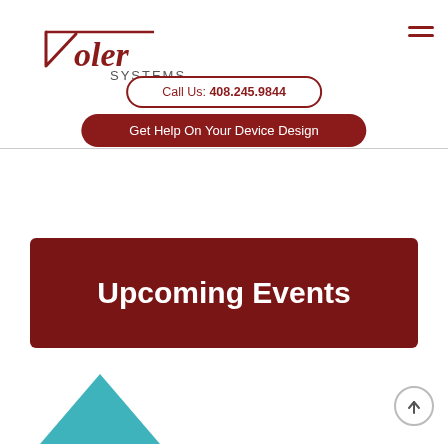[Figure (logo): Voler Systems logo with cursive 'Voler' in dark red and 'SYSTEMS' in sans-serif]
Call Us: 408.245.9844
Get Help On Your Device Design
Upcoming Events
[Figure (illustration): Teal/turquoise triangular shape at bottom left of page]